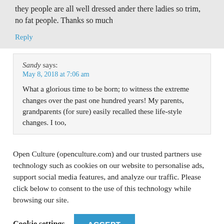they people are all well dressed ander there ladies so trim, no fat people. Thanks so much
Reply
Sandy says:
May 8, 2018 at 7:06 am
What a glorious time to be born; to witness the extreme changes over the past one hundred years! My parents, grandparents (for sure) easily recalled these life-style changes. I too,
Open Culture (openculture.com) and our trusted partners use technology such as cookies on our website to personalise ads, support social media features, and analyze our traffic. Please click below to consent to the use of this technology while browsing our site.
Cookie settings
ACCEPT